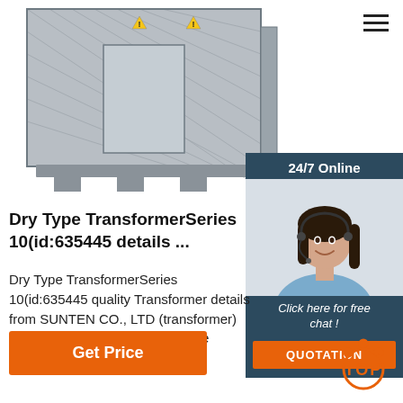[Figure (photo): Dry Type Transformer product photo - large industrial transformer unit with metal mesh enclosure and warning labels, grey/silver color]
[Figure (photo): 24/7 Online chat widget with female customer service agent wearing headset, smiling. Dark blue/teal background header reading '24/7 Online', 'Click here for free chat!' and orange QUOTATION button]
Dry Type TransformerSeries 10(id:635445 details ...
Dry Type TransformerSeries 10(id:635445 quality Transformer details from SUNTEN CO., LTD (transformer) storefront on EC21 best Dry Type TransformerSeries 10 ...
Get Price
TOP